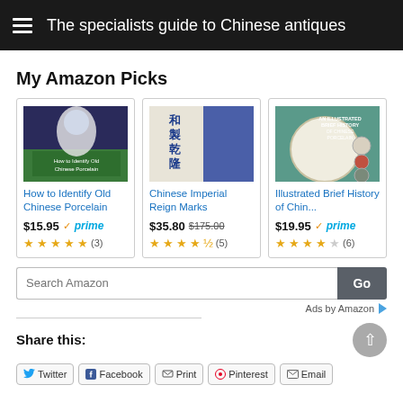The specialists guide to Chinese antiques
My Amazon Picks
[Figure (screenshot): Book cover: How to Identify Old Chinese Porcelain]
How to Identify Old Chinese Porcelain
$15.95 ✓prime ★★★★★ (3)
[Figure (screenshot): Book cover: Chinese Imperial Reign Marks]
Chinese Imperial Reign Marks
$35.80 $175.00 ★★★★½ (5)
[Figure (screenshot): Book cover: Illustrated Brief History of Chin...]
Illustrated Brief History of Chin...
$19.95 ✓prime ★★★★☆ (6)
Search Amazon
Ads by Amazon
Share this:
Twitter Facebook Print Pinterest Email